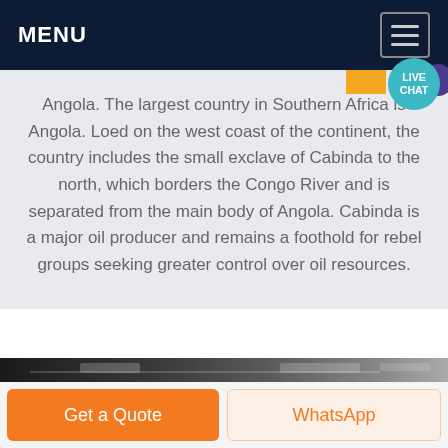MENU
Angola. The largest country in Southern Africa is Angola. Loed on the west coast of the continent, the country includes the small exclave of Cabinda to the north, which borders the Congo River and is separated from the main body of Angola. Cabinda is a major oil producer and remains a foothold for rebel groups seeking greater control over oil resources.
[Figure (photo): Industrial/ceiling interior photo strip at bottom of content area]
Get a Quote
WhatsApp